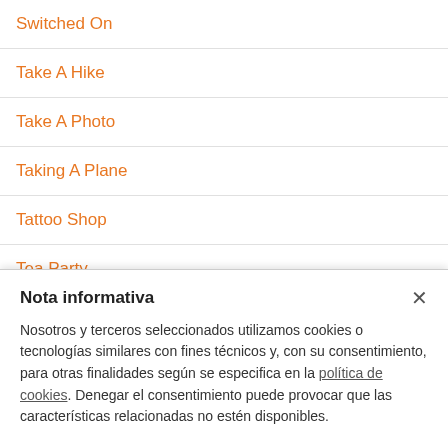Switched On
Take A Hike
Take A Photo
Taking A Plane
Tattoo Shop
Tea Party
Team Building
Nota informativa
Nosotros y terceros seleccionados utilizamos cookies o tecnologías similares con fines técnicos y, con su consentimiento, para otras finalidades según se especifica en la política de cookies. Denegar el consentimiento puede provocar que las características relacionadas no estén disponibles.